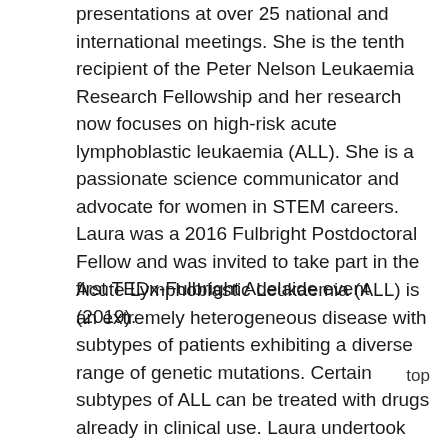presentations at over 25 national and international meetings. She is the tenth recipient of the Peter Nelson Leukaemia Research Fellowship and her research now focuses on high-risk acute lymphoblastic leukaemia (ALL). She is a passionate science communicator and advocate for women in STEM careers. Laura was a 2016 Fulbright Postdoctoral Fellow and was invited to take part in the first TEDx-Fulbright Adelaide event (2019).
Acute Lymphoblastic Leukaemia (ALL) is an extremely heterogeneous disease with subtypes of patients exhibiting a diverse range of genetic mutations. Certain subtypes of ALL can be treated with drugs already in clinical use. Laura undertook her Fulbright fellowship (2016-2017) at St. Jude Children's Research Hospital in Memphis, Tennessee where she learned mouse models of high-risk ALL. Laura is now leading in vivo mouse stud for high-risk ALL with a specific focus on T-cell ALL. Laura's research seeks to pave the way for alternative T-ALL therapies that are more effective and have fewer
top